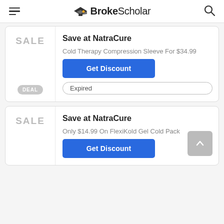BrokeScholar
SALE
Save at NatraCure
Cold Therapy Compression Sleeve For $34.99
Get Discount
Expired
DEAL
SALE
Save at NatraCure
Only $14.99 On FlexiKold Gel Cold Pack
Get Discount